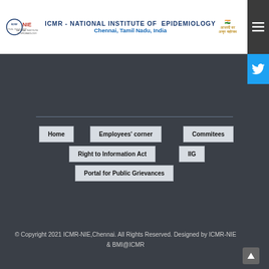ICMR - NATIONAL INSTITUTE OF EPIDEMIOLOGY
Chennai, Tamil Nadu, India
[Figure (logo): ICMR NIE institute logo and Azadi Ka Amrit Mahotsav India 75 logo]
[Figure (other): Hamburger menu button (dark grey)]
[Figure (other): Twitter bird icon button (blue)]
Home
Employees' corner
Commitees
Right to Information Act
IIG
Portal for Public Grievances
© Copyright 2021 ICMR-NIE,Chennai. All Rights Reserved. Designed by ICMR-NIE & BMI@ICMR